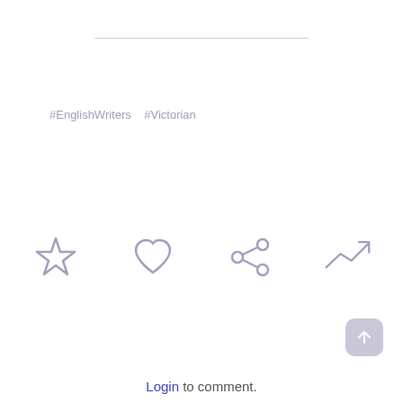#EnglishWriters   #Victorian
[Figure (infographic): Four social action icons in a row: star (bookmark/favorite), heart (like), share (connected circles), and trending up arrow. All icons rendered in muted purple/lavender color.]
Login to comment.